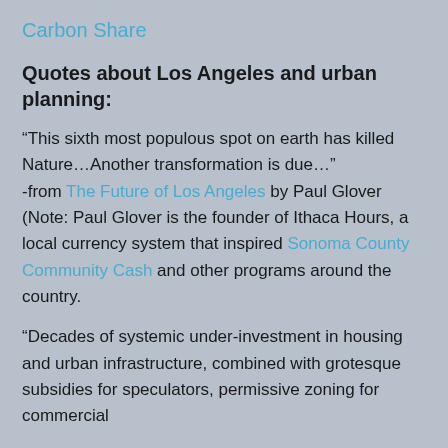Carbon Share
Quotes about Los Angeles and urban planning:
“This sixth most populous spot on earth has killed Nature…Another transformation is due…” -from The Future of Los Angeles by Paul Glover (Note: Paul Glover is the founder of Ithaca Hours, a local currency system that inspired Sonoma County Community Cash and other programs around the country.
“Decades of systemic under-investment in housing and urban infrastructure, combined with grotesque subsidies for speculators, permissive zoning for commercial